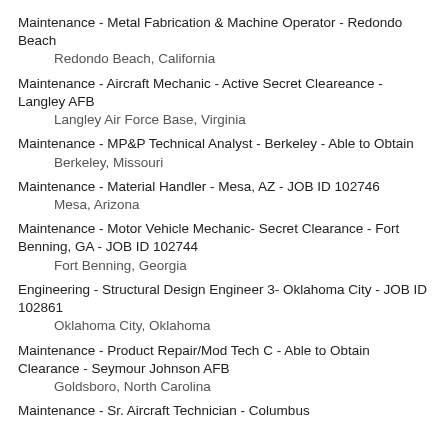Maintenance - Metal Fabrication & Machine Operator - Redondo Beach
    Redondo Beach, California
Maintenance - Aircraft Mechanic - Active Secret Cleareance - Langley AFB
    Langley Air Force Base, Virginia
Maintenance - MP&P Technical Analyst - Berkeley - Able to Obtain
    Berkeley, Missouri
Maintenance - Material Handler - Mesa, AZ - JOB ID 102746
    Mesa, Arizona
Maintenance - Motor Vehicle Mechanic- Secret Clearance - Fort Benning, GA - JOB ID 102744
    Fort Benning, Georgia
Engineering - Structural Design Engineer 3- Oklahoma City - JOB ID 102861
    Oklahoma City, Oklahoma
Maintenance - Product Repair/Mod Tech C - Able to Obtain Clearance - Seymour Johnson AFB
    Goldsboro, North Carolina
Maintenance - Sr. Aircraft Technician - Columbus